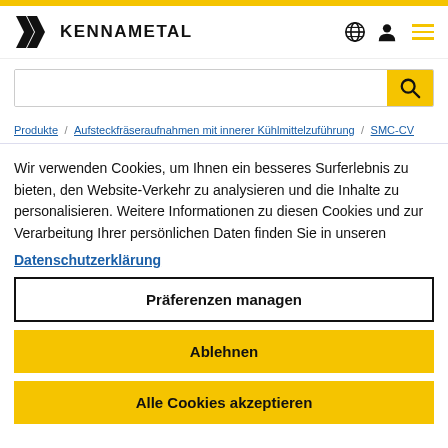[Figure (logo): Kennametal logo with two K chevrons and KENNAMETAL wordmark]
[Figure (other): Search bar with yellow search button]
Produkte / Aufsteckfräseraufnahmen mit innerer Kühlmittelzuführung / SMC-CV
Wir verwenden Cookies, um Ihnen ein besseres Surferlebnis zu bieten, den Website-Verkehr zu analysieren und die Inhalte zu personalisieren. Weitere Informationen zu diesen Cookies und zur Verarbeitung Ihrer persönlichen Daten finden Sie in unseren
Datenschutzerklärung
Präferenzen managen
Ablehnen
Alle Cookies akzeptieren